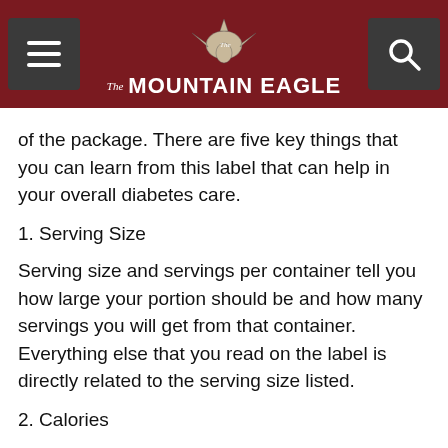The Mountain Eagle
of the package. There are five key things that you can learn from this label that can help in your overall diabetes care.
1. Serving Size
Serving size and servings per container tell you how large your portion should be and how many servings you will get from that container. Everything else that you read on the label is directly related to the serving size listed.
2. Calories
You can learn how many calories are in each serving and how many of those calories are from fat. For people concerned about weight gain, monitoring your daily intake of calories is essential.
3. Fat, Cholesterol and Sodium